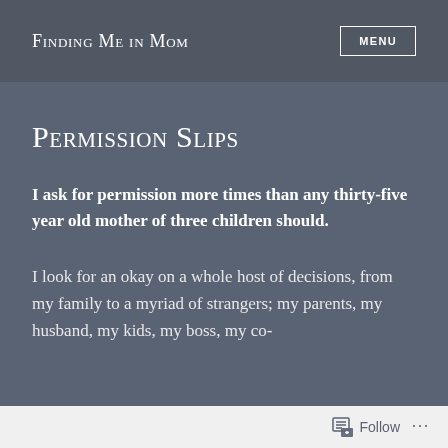Finding Me in Mom
Permission Slips
I ask for permission more times than any thirty-five year old mother of three children should.
I look for an okay on a whole host of decisions, from my family to a myriad of strangers; my parents, my husband, my kids, my boss, my co-
Follow ...